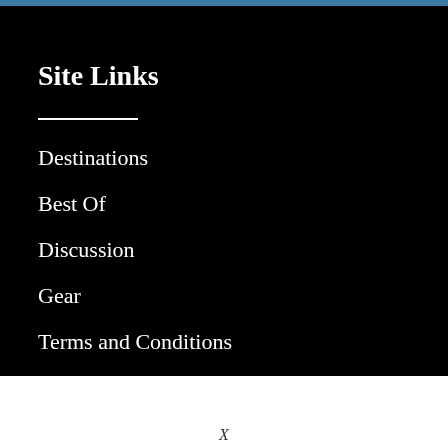Site Links
Destinations
Best Of
Discussion
Gear
Terms and Conditions
Contact
About
X